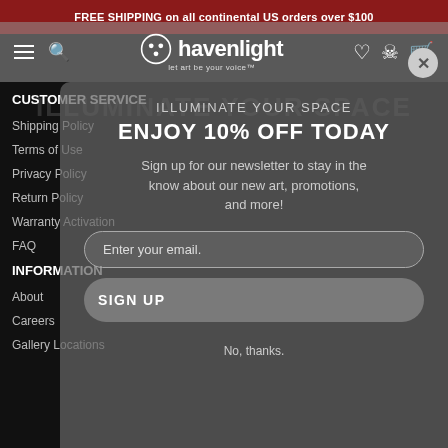FREE SHIPPING on all continental US orders over $100
[Figure (screenshot): Havenlight website navigation bar with hamburger menu, search icon, havenlight logo, wishlist icon, account icon, cart icon, and a close button (X)]
CUSTOMER SERVICE
Shipping Policy
Terms of Use
Privacy Policy
Return Policy
Warranty Activation
FAQ
ILLUMINATE YOUR SPACE
ENJOY 10% OFF TODAY
Sign up for our newsletter to stay in the know about our new art, promotions, and more!
Enter your email.
SIGN UP
INFORMATION
About
Careers
Gallery Locations
No, thanks.